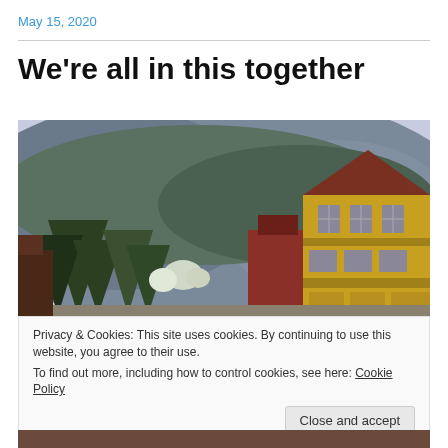May 15, 2020
We're all in this together
[Figure (photo): Street scene with Victorian-style yellow and red building on the right side, evergreen trees in the center-left, and a forested mountain/hillside in the background under an overcast sky.]
Privacy & Cookies: This site uses cookies. By continuing to use this website, you agree to their use.
To find out more, including how to control cookies, see here: Cookie Policy
Close and accept